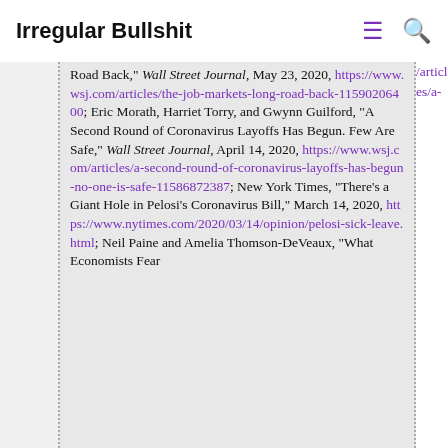Irregular Bullshit
https://www.washingtonpost.com/business/moratoriums-inglewood/; Eric Morath, “The Job Market’s Long Road Back,” Wall Street Journal, May 23, 2020, https://www.wsj.com/articles/the-job-markets-long-road-back-11590206400; Eric Morath, Harriet Torry, and Gwynn Guilford, “A Second Round of Coronavirus Layoffs Has Begun. Few Are Safe,” Wall Street Journal, April 14, 2020, https://www.wsj.com/articles/a-second-round-of-coronavirus-layoffs-has-begun-no-one-is-safe-11586872387; New York Times, “There’s a Giant Hole in Pelosi’s Coronavirus Bill,” March 14, 2020, https://www.nytimes.com/2020/03/14/opinion/pelosi-sick-leave.html; Neil Paine and Amelia Thomson-DeVeaux, “What Economists Fear